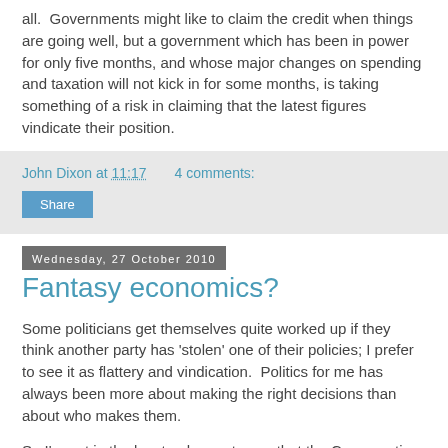all.  Governments might like to claim the credit when things are going well, but a government which has been in power for only five months, and whose major changes on spending and taxation will not kick in for some months, is taking something of a risk in claiming that the latest figures vindicate their position.
John Dixon at 11:17    4 comments:
Share
Wednesday, 27 October 2010
Fantasy economics?
Some politicians get themselves quite worked up if they think another party has 'stolen' one of their policies; I prefer to see it as flattery and vindication.  Politics for me has always been more about making the right decisions than about who makes them.
So I'm not in the least unhappy to see that the Conservatives